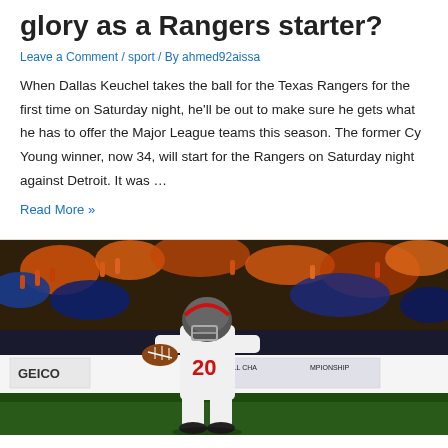glory as a Rangers starter?
Leave a Comment / sport / By ahmed92aissa
When Dallas Keuchel takes the ball for the Texas Rangers for the first time on Saturday night, he'll be out to make sure he gets what he has to offer the Major League teams this season. The former Cy Young winner, now 34, will start for the Rangers on Saturday night against Detroit. It was …
Read More »
[Figure (photo): Football player wearing number 20 in white uniform running with the ball during an indoor arena football game, with orange and blue crowd in background and championship signage visible]